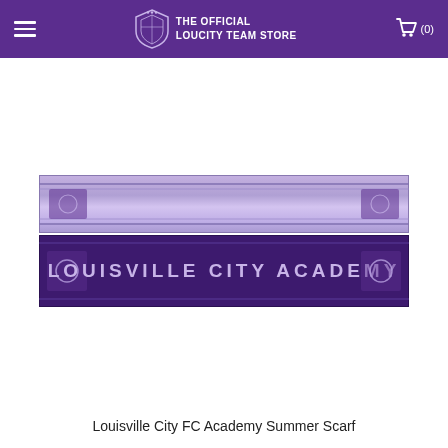THE OFFICIAL LOUCITY TEAM STORE
[Figure (photo): Product photo showing two Louisville City FC Academy scarves stacked: one light lavender/purple scarf on top and one dark purple scarf on bottom with 'LOUISVILLE CITY ACADEMY' text on it]
Louisville City FC Academy Summer Scarf